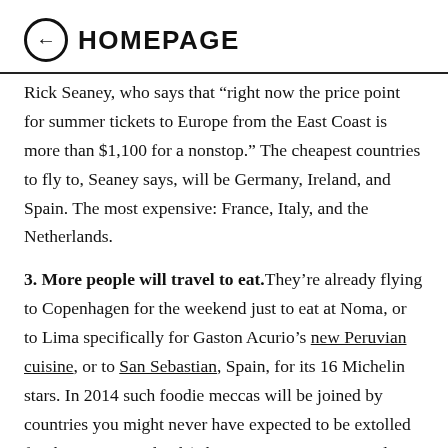HOMEPAGE
Rick Seaney, who says that “right now the price point for summer tickets to Europe from the East Coast is more than $1,100 for a nonstop.” The cheapest countries to fly to, Seaney says, will be Germany, Ireland, and Spain. The most expensive: France, Italy, and the Netherlands.
3. More people will travel to eat. They’re already flying to Copenhagen for the weekend just to eat at Noma, or to Lima specifically for Gaston Acurio’s new Peruvian cuisine, or to San Sebastian, Spain, for its 16 Michelin stars. In 2014 such foodie meccas will be joined by countries you might never have expected to be extolled for their eats: Scotland (whose restaurants now total 17 Michelin stars), Australia (here’s why), and even Georgia (the one in the Caucasus, renowned for outstanding